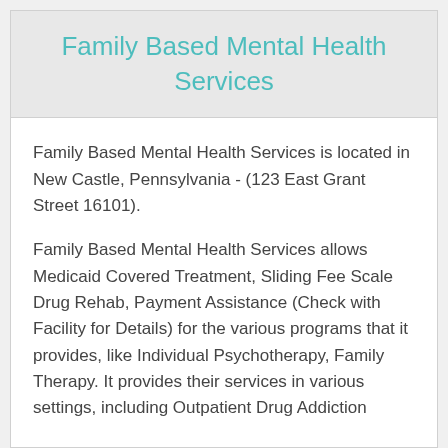Family Based Mental Health Services
Family Based Mental Health Services is located in New Castle, Pennsylvania - (123 East Grant Street 16101).
Family Based Mental Health Services allows Medicaid Covered Treatment, Sliding Fee Scale Drug Rehab, Payment Assistance (Check with Facility for Details) for the various programs that it provides, like Individual Psychotherapy, Family Therapy. It provides their services in various settings, including Outpatient Drug Addiction